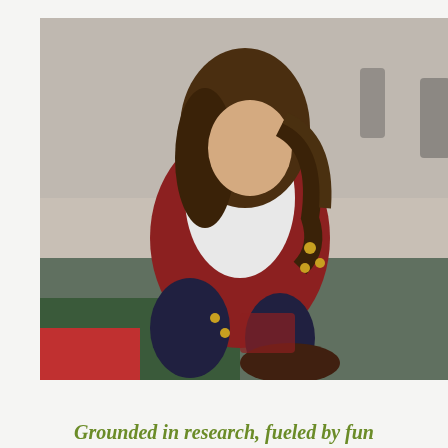[Figure (photo): A young girl in a plaid jumper and white long-sleeve shirt sitting cross-legged on a colorful rug, holding jingle bells, with another child visible in the blurred background. A dark green card overlay in the lower right of the photo area shows the Primrose Schools logo (rooster in a circle), the word INTRODUCING, and the text Harmony & Heart™.]
Grounded in research, fueled by fun